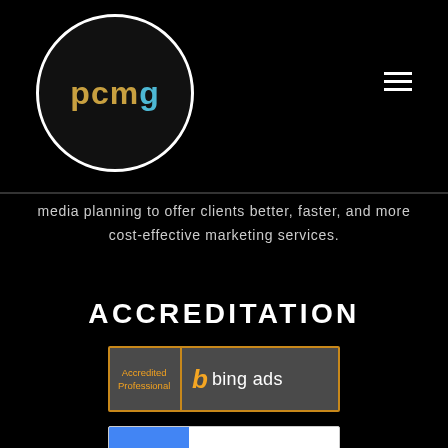pcmg
media planning to offer clients better, faster, and more cost-effective marketing services.
ACCREDITATION
[Figure (logo): Bing Ads Accredited Professional badge - dark grey background with gold border, text 'Accredited Professional' on left and Bing logo with 'bing ads' on right]
[Figure (logo): Google Partner badge - white background with blue 'g' icon on left and 'Google Partner' text on right]